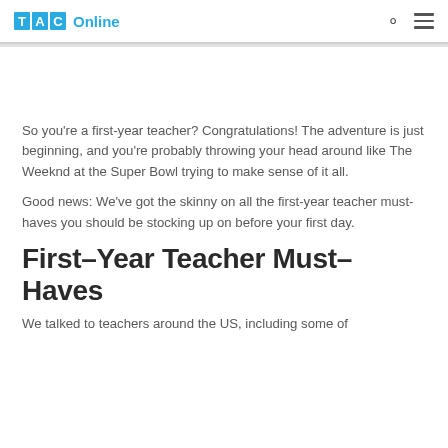TAC Online
So you're a first-year teacher? Congratulations! The adventure is just beginning, and you're probably throwing your head around like The Weeknd at the Super Bowl trying to make sense of it all.
Good news: We've got the skinny on all the first-year teacher must-haves you should be stocking up on before your first day.
First–Year Teacher Must–Haves
We talked to teachers around the US, including some of